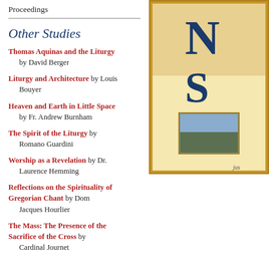Proceedings
Other Studies
Thomas Aquinas and the Liturgy by David Berger
Liturgy and Architecture by Louis Bouyer
Heaven and Earth in Little Space by Fr. Andrew Burnham
The Spirit of the Liturgy by Romano Guardini
Worship as a Revelation by Dr. Laurence Hemming
Reflections on the Spirituality of Gregorian Chant by Dom Jacques Hourlier
The Mass: The Presence of the Sacrifice of the Cross by Cardinal Journet
[Figure (illustration): Decorative illuminated manuscript-style image with large letters N and S in blue on gold background, with a small inset image below. Caption reads 'jus']
Ss Peter and Paul. On the f St Paul is represented with Peter with the symbol of hi the rooster: a remarkably conflict with the Holy See.